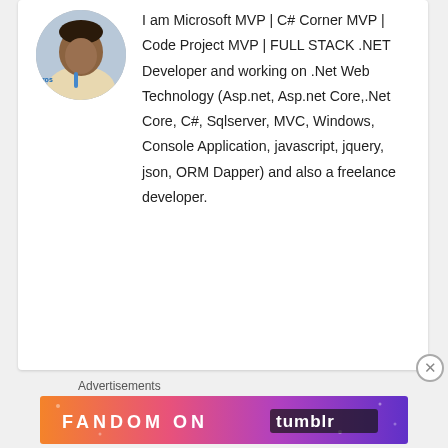[Figure (photo): Circular profile photo of a man at a conference with a lanyard, partial 'Microsoft' text visible on banner behind him]
I am Microsoft MVP | C# Corner MVP | Code Project MVP | FULL STACK .NET Developer and working on .Net Web Technology (Asp.net, Asp.net Core,.Net Core, C#, Sqlserver, MVC, Windows, Console Application, javascript, jquery, json, ORM Dapper) and also a freelance developer.
Advertisements
[Figure (illustration): Fandom on Tumblr advertisement banner with colorful gradient background (orange, pink, purple) and bold white text reading 'FANDOM ON tumblr']